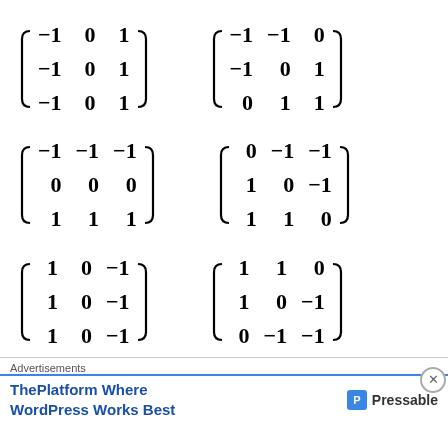Advertisements
ThePlatform Where WordPress Works Best
Pressable